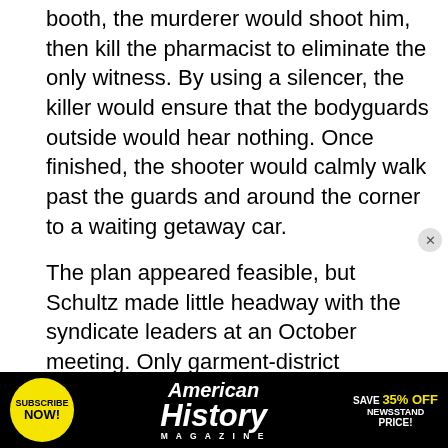booth, the murderer would shoot him, then kill the pharmacist to eliminate the only witness. By using a silencer, the killer would ensure that the bodyguards outside would hear nothing. Once finished, the shooter would calmly walk past the guards and around the corner to a waiting getaway car.
The plan appeared feasible, but Schultz made little headway with the syndicate leaders at an October meeting. Only garment-district racketeer Gurrah Shapiro sided with the Dutchman. The others believed that Dewey's murder would create more problems than it would solve. We will all burn if Dewey is knocked off, said Lepke. The easier solution was the tried-and-true technique of
[Figure (infographic): Advertisement banner for American History Magazine. Black background with yellow circle containing 'SUBSCRIBE NOW!' text on the left, 'American History MAGAZINE' title in the center in white italic text, and 'SAVE 35% OFF NEWSSTAND PRICE!' in white and yellow text on the right.]